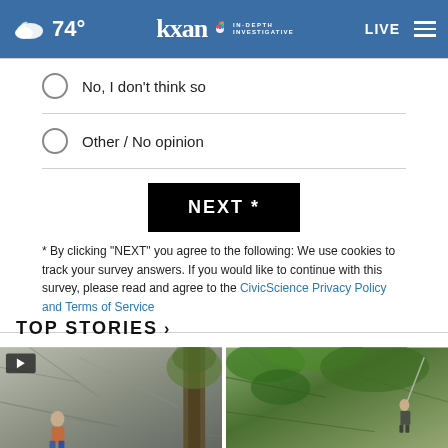74° kxan IN-DEPTH INVESTIGATIVE LIVE
No, I don't think so
Other / No opinion
NEXT *
* By clicking "NEXT" you agree to the following: We use cookies to track your survey answers. If you would like to continue with this survey, please read and agree to the CivicScience Privacy Policy and Terms of Service
TOP STORIES ›
[Figure (photo): Rock climber scaling a steep cliff face outdoors]
[Figure (photo): Rock climber on a steep cliff face covered with green vegetation]